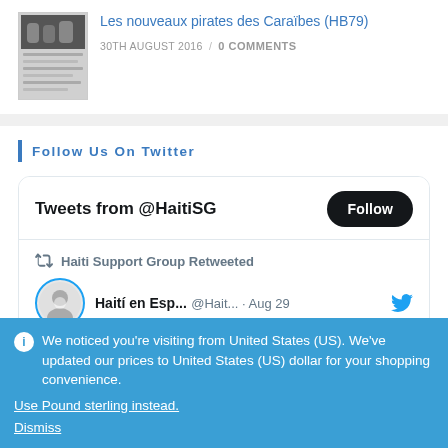[Figure (photo): Thumbnail image of newspaper article with a photo of people at a table and text about 'Les nouveaux pirates des Caraïbes']
Les nouveaux pirates des Caraïbes (HB79)
30TH AUGUST 2016 / 0 COMMENTS
Follow Us On Twitter
[Figure (screenshot): Twitter widget showing 'Tweets from @HaitiSG' with a Follow button, and a retweet from Haiti Support Group showing 'Haití en Esp... @Hait... · Aug 29']
We noticed you're visiting from United States (US). We've updated our prices to United States (US) dollar for your shopping convenience.
Use Pound sterling instead.
Dismiss